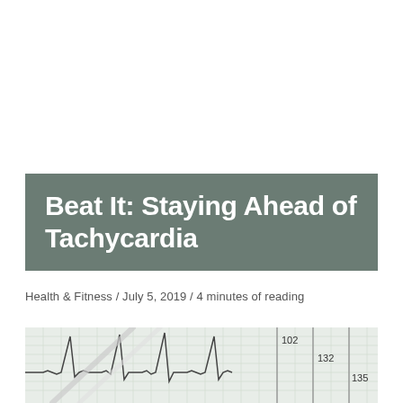Beat It: Staying Ahead of Tachycardia
Health & Fitness / July 5, 2019 / 4 minutes of reading
[Figure (photo): Photo of an ECG/EKG printout with waveforms showing heartbeat traces on graph paper with numbers 102, 132, 135 visible, alongside what appears to be medical swabs or instruments]